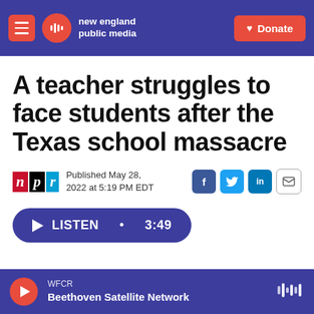new england public media | Donate
A teacher struggles to face students after the Texas school massacre
Published May 28, 2022 at 5:19 PM EDT
LISTEN • 3:49
WFCR Beethoven Satellite Network